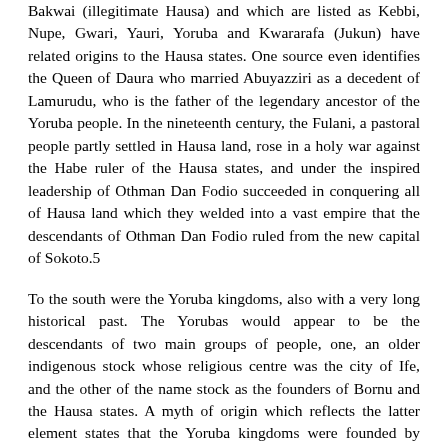Bakwai (illegitimate Hausa) and which are listed as Kebbi, Nupe, Gwari, Yauri, Yoruba and Kwararafa (Jukun) have related origins to the Hausa states. One source even identifies the Queen of Daura who married Abuyazziri as a decedent of Lamurudu, who is the father of the legendary ancestor of the Yoruba people. In the nineteenth century, the Fulani, a pastoral people partly settled in Hausa land, rose in a holy war against the Habe ruler of the Hausa states, and under the inspired leadership of Othman Dan Fodio succeeded in conquering all of Hausa land which they welded into a vast empire that the descendants of Othman Dan Fodio ruled from the new capital of Sokoto.5
To the south were the Yoruba kingdoms, also with a very long historical past. The Yorubas would appear to be the descendants of two main groups of people, one, an older indigenous stock whose religious centre was the city of Ife, and the other of the name stock as the founders of Bornu and the Hausa states. A myth of origin which reflects the latter element states that the Yoruba kingdoms were founded by Oduduwa, son of an Arabian or Nubian king name Lamurudu. As a result of internal strife, Oduduwa was driven out of his father's kingdom in the east